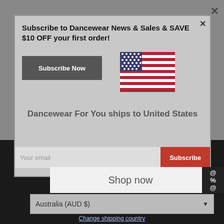Subscribe to Dancewear News & Sales & SAVE $10 OFF your first order!
Subscribe Now
[Figure (illustration): US flag icon]
Dancewear For You ships to United States
Your email
Subscribe
Copyright © 2022. Dancewear For You. Powered by Shopify
Shop in USD $
Get shipping options for United States
DISCOVER JCB [Mastercard] PayPal
VISA
Shop now
Australia (AUD $)
Change shipping country